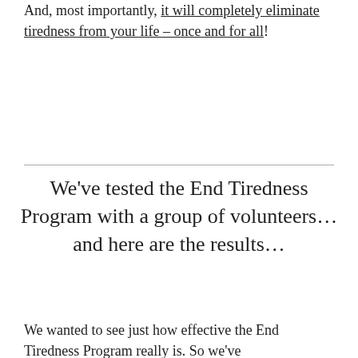And, most importantly, it will completely eliminate tiredness from your life – once and for all!
We've tested the End Tiredness Program with a group of volunteers… and here are the results…
We wanted to see just how effective the End Tiredness Program really is. So we've